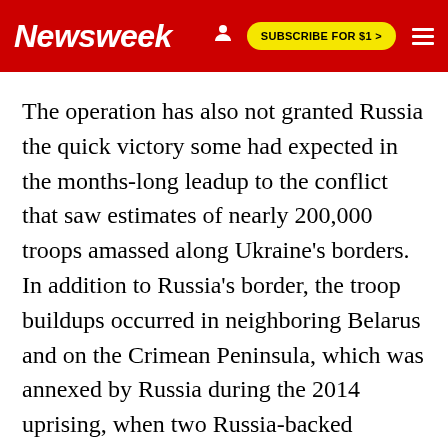Newsweek | SUBSCRIBE FOR $1 >
The operation has also not granted Russia the quick victory some had expected in the months-long leadup to the conflict that saw estimates of nearly 200,000 troops amassed along Ukraine's borders. In addition to Russia's border, the troop buildups occurred in neighboring Belarus and on the Crimean Peninsula, which was annexed by Russia during the 2014 uprising, when two Russia-backed separatist states also emerged in the eastern Donbas region.